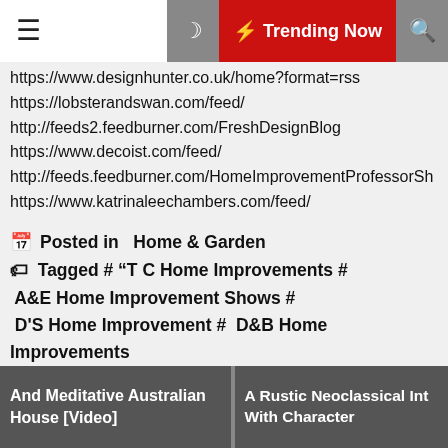☰ Trending Now 🔍
https://www.designhunter.co.uk/home?format=rss
https://lobsterandswan.com/feed/
http://feeds2.feedburner.com/FreshDesignBlog
https://www.decoist.com/feed/
http://feeds.feedburner.com/HomeImprovementProfessorSh
https://www.katrinaleechambers.com/feed/
Posted in  Home & Garden
Tagged # "T C Home Improvements # A&E Home Improvement Shows # D'S Home Improvement # D&B Home Improvements # D&E Home Improvements # D&M Home Improvements # E F Home Improvements # E Home Improvement Products # E Mart Home Improvement Centre # E&L Home Improvements Llc # E&M Home Improvements #
And Meditative Australian House [Video]   A Rustic Neoclassical Int With Character